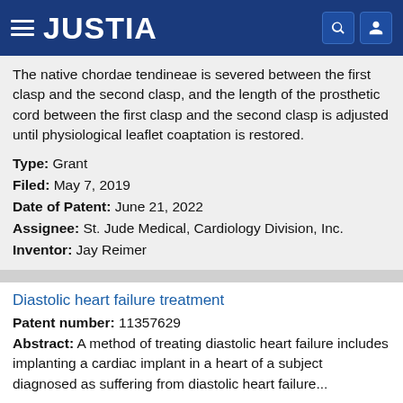JUSTIA
The native chordae tendineae is severed between the first clasp and the second clasp, and the length of the prosthetic cord between the first clasp and the second clasp is adjusted until physiological leaflet coaptation is restored.
Type: Grant
Filed: May 7, 2019
Date of Patent: June 21, 2022
Assignee: St. Jude Medical, Cardiology Division, Inc.
Inventor: Jay Reimer
Diastolic heart failure treatment
Patent number: 11357629
Abstract: A method of treating diastolic heart failure includes implanting a cardiac implant in a heart of a subject diagnosed as suffering from diastolic heart failure...